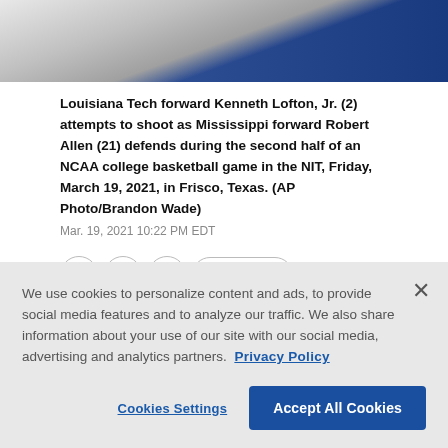[Figure (photo): Partial photo of basketball players, one in blue jersey, one in white, during an NCAA game]
Louisiana Tech forward Kenneth Lofton, Jr. (2) attempts to shoot as Mississippi forward Robert Allen (21) defends during the second half of an NCAA college basketball game in the NIT, Friday, March 19, 2021, in Frisco, Texas. (AP Photo/Brandon Wade)
Mar. 19, 2021 10:22 PM EDT
We use cookies to personalize content and ads, to provide social media features and to analyze our traffic. We also share information about your use of our site with our social media, advertising and analytics partners. Privacy Policy
Cookies Settings
Accept All Cookies